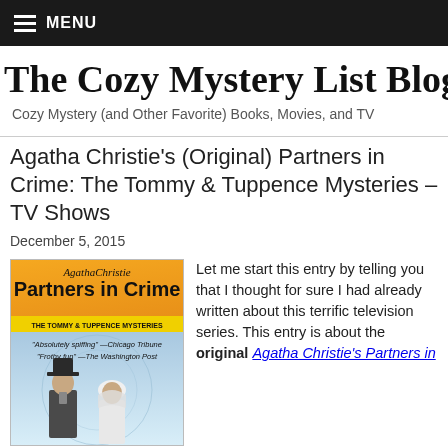MENU
The Cozy Mystery List Blog
Cozy Mystery (and Other Favorite) Books, Movies, and TV
Agatha Christie's (Original) Partners in Crime: The Tommy & Tuppence Mysteries – TV Shows
December 5, 2015
[Figure (photo): Book/DVD cover for Agatha Christie's Partners in Crime: The Tommy & Tuppence Mysteries, featuring orange top with script title, yellow bar, and two figures (man in hat and woman) against a blue background with quotes 'Absolutely spiffing' and 'Frothy fun']
Let me start this entry by telling you that I thought for sure I had already written about this terrific television series. This entry is about the original Agatha Christie's Partners in